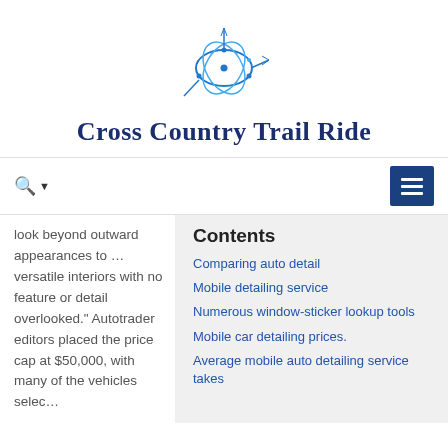[Figure (logo): Cross Country Trail Ride logo — stylized star/network shape in blue tones]
Cross Country Trail Ride
🔍 ▾  [hamburger menu button]
look beyond outward appearances to … versatile interiors with no feature or detail overlooked." Autotrader editors placed the price cap at $50,000, with many of the vehicles selec…
Contents
Comparing auto detail
Mobile detailing service
Numerous window-sticker lookup tools
Mobile car detailing prices.
Average mobile auto detailing service takes